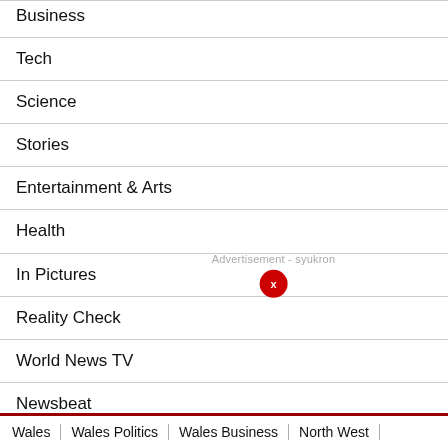Business
Tech
Science
Stories
Entertainment & Arts
Health
In Pictures
Reality Check
World News TV
Newsbeat
Long Reads
Wales | Wales Politics | Wales Business | North West |